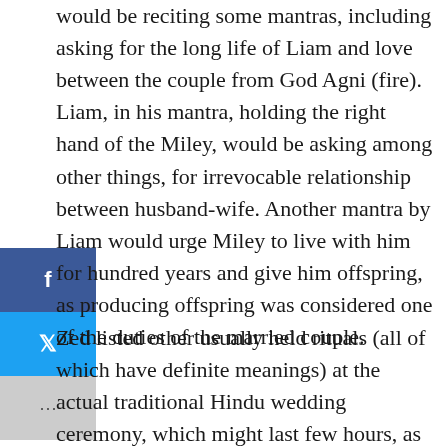would be reciting some mantras, including asking for the long life of Liam and love between the couple from God Agni (fire). Liam, in his mantra, holding the right hand of the Miley, would be asking among other things, for irrevocable relationship between husband-wife. Another mantra by Liam would urge Miley to live with him for hundred years and give him offspring, as producing offspring was considered one of the duties of the married couple.
Zed listed other usually held rituals (all of which have definite meanings) at the actual traditional Hindu wedding ceremony, which might last few hours, as including: saptapadi (taking seven steps in the presence of wedding fire), havan,